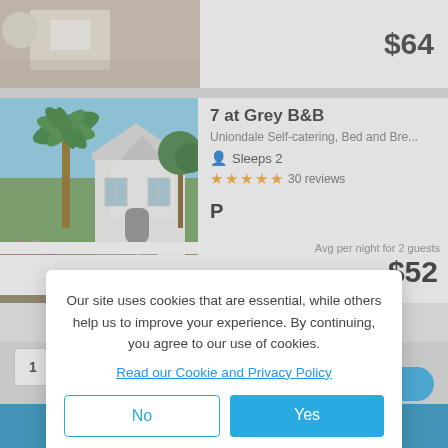[Figure (photo): Top partial property photo showing patio/pool area]
$64
[Figure (photo): Photo of 7 at Grey B&B property: white Cape Dutch house with palm tree and garden]
7 at Grey B&B
Uniondale Self-catering, Bed and Bre...
Sleeps 2
30 reviews
P
Avg per night for 2 guests
$52
Nex
1
Filters
Our site uses cookies that are essential, while others help us to improve your experience. By continuing, you agree to our use of cookies.
Read our Cookie and Privacy Policy
No
Yes